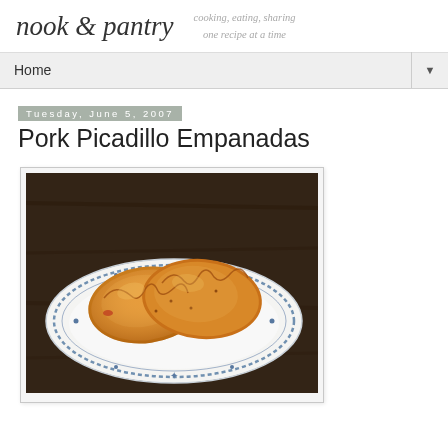nook & pantry — cooking, eating, sharing one recipe at a time
Home
Tuesday, June 5, 2007
Pork Picadillo Empanadas
[Figure (photo): Two golden-brown fried pork picadillo empanadas on a white plate with blue decorative border, photographed on a dark wood table background.]